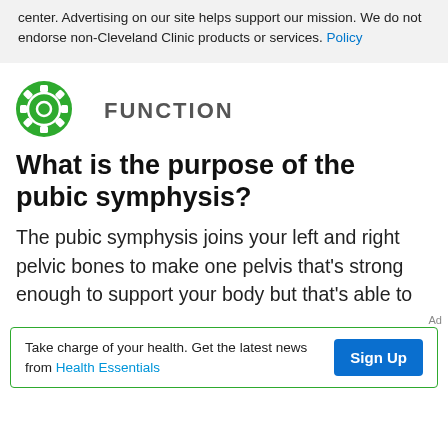mission. We do not endorse non-Cleveland Clinic products or services. Policy
[Figure (logo): Green circular gear/settings icon for FUNCTION section]
FUNCTION
What is the purpose of the pubic symphysis?
The pubic symphysis joins your left and right pelvic bones to make one pelvis that's strong enough to support your body but that's able to
Ad
Take charge of your health. Get the latest news from Health Essentials  Sign Up